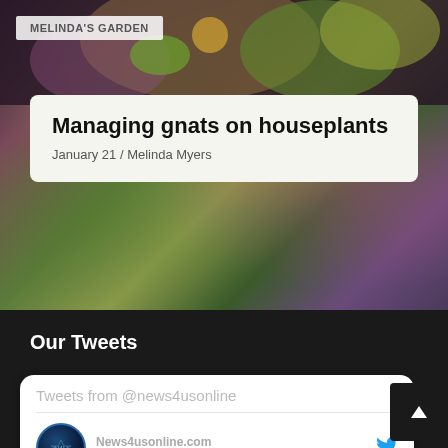[Figure (photo): Colorful garden photo with flowers and insects, part of Melinda's Garden segment]
MELINDA'S GARDEN
Managing gnats on houseplants
January 21 / Melinda Myers
Our Tweets
Tweets from @news4usonline
News4usonline.com
@news4usonline · Aug 22
For the Chargers, it's all about the run game. #BoltUp